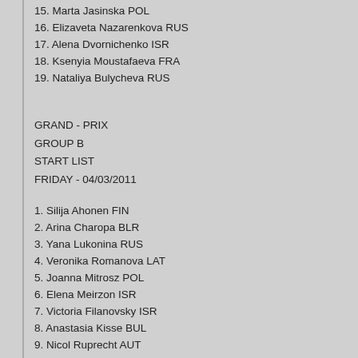15. Marta Jasinska POL
16. Elizaveta Nazarenkova RUS
17. Alena Dvornichenko ISR
18. Ksenyia Moustafaeva FRA
19. Nataliya Bulycheva RUS
GRAND - PRIX
GROUP B
START LIST
FRIDAY - 04/03/2011
1.  Silija Ahonen FIN
2.  Arina Charopa BLR
3.  Yana Lukonina RUS
4.  Veronika Romanova LAT
5.  Joanna Mitrosz POL
6.  Elena Meirzon ISR
7.  Victoria Filanovsky ISR
8.  Anastasia Kisse BUL
9.  Nicol Ruprecht AUT
10. Nataly Hamrikova CZE
11. Alexandra Merkulova RUS
12. Chrystalleni Trikomiti CYP
13. Ivana Dermekov◆ SVK